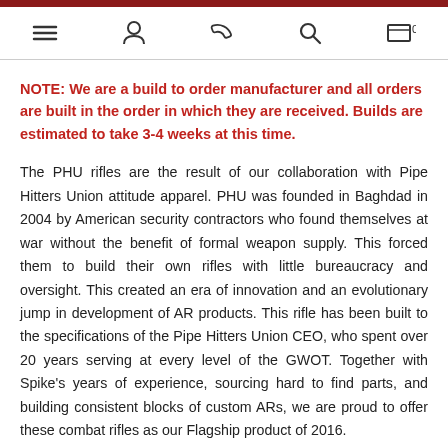Navigation bar with menu, user, phone, search, and cart icons
NOTE: We are a build to order manufacturer and all orders are built in the order in which they are received. Builds are estimated to take 3-4 weeks at this time.
The PHU rifles are the result of our collaboration with Pipe Hitters Union attitude apparel. PHU was founded in Baghdad in 2004 by American security contractors who found themselves at war without the benefit of formal weapon supply. This forced them to build their own rifles with little bureaucracy and oversight. This created an era of innovation and an evolutionary jump in development of AR products. This rifle has been built to the specifications of the Pipe Hitters Union CEO, who spent over 20 years serving at every level of the GWOT. Together with Spike's years of experience, sourcing hard to find parts, and building consistent blocks of custom ARs, we are proud to offer these combat rifles as our Flagship product of 2016.